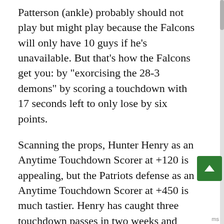Patterson (ankle) probably should not play but might play because the Falcons will only have 10 guys if he's unavailable. But that's how the Falcons get you: by "exorcising the 28-3 demons" by scoring a touchdown with 17 seconds left to only lose by six points.
Scanning the props, Hunter Henry as an Anytime Touchdown Scorer at +120 is appealing, but the Patriots defense as an Anytime Touchdown Scorer at +450 is much tastier. Henry has caught three touchdown passes in two weeks and will likely be the focus of the Falcons defense's attention (for whatever that's worth) in the red zone. It makes more sense to wager on the Patriots defense doing something superlative and the Falcons offense doing something hilarious, especially at that Moneyline.
As for the game itself, TQ is rather confident about...